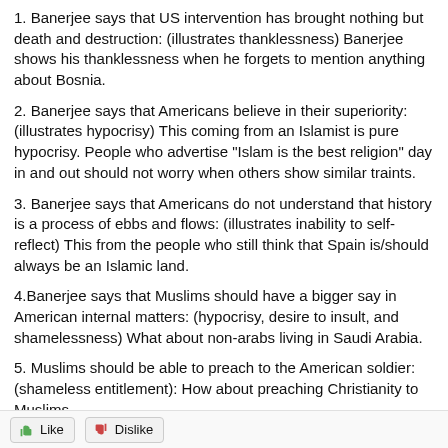1. Banerjee says that US intervention has brought nothing but death and destruction: (illustrates thanklessness) Banerjee shows his thanklessness when he forgets to mention anything about Bosnia.
2. Banerjee says that Americans believe in their superiority: (illustrates hypocrisy) This coming from an Islamist is pure hypocrisy. People who advertise "Islam is the best religion" day in and out should not worry when others show similar traints.
3. Banerjee says that Americans do not understand that history is a process of ebbs and flows: (illustrates inability to self-reflect) This from the people who still think that Spain is/should always be an Islamic land.
4.Banerjee says that Muslims should have a bigger say in American internal matters: (hypocrisy, desire to insult, and shamelessness) What about non-arabs living in Saudi Arabia.
5. Muslims should be able to preach to the American soldier: (shameless entitlement): How about preaching Christianity to Muslims.
Like  Dislike